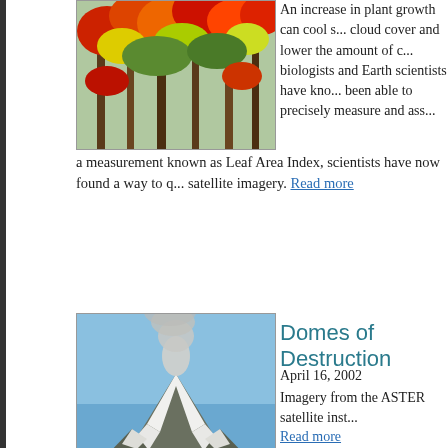[Figure (photo): Colorful autumn forest with red, orange, yellow, and green trees]
An increase in plant growth can cool s... cloud cover and lower the amount of c... biologists and Earth scientists have kno... been able to precisely measure and ass... a measurement known as Leaf Area Index, scientists have now found a way to q... satellite imagery. Read more
[Figure (photo): Snow-capped volcanic mountain (Mount St. Helens) with a plume of smoke/ash rising from the summit against a blue sky]
Domes of Destruction
April 16, 2002
Imagery from the ASTER satellite inst... Read more
[Figure (photo): Close-up illustration of a deer mouse (Peromyscus maniculatus) on a branch, shown in natural brownish-gray coloring]
Hantavirus Risk Maps
February 5, 2002
Satellite and ground truth data help sci... syndrome. Read more